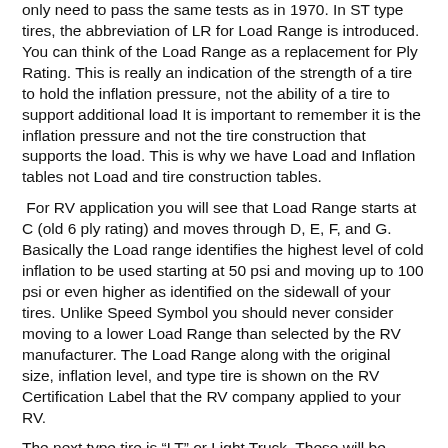only need to pass the same tests as in 1970. In ST type tires, the abbreviation of LR for Load Range is introduced. You can think of the Load Range as a replacement for Ply Rating. This is really an indication of the strength of a tire to hold the inflation pressure, not the ability of a tire to support additional load It is important to remember it is the inflation pressure and not the tire construction that supports the load. This is why we have Load and Inflation tables not Load and tire construction tables.
For RV application you will see that Load Range starts at C (old 6 ply rating) and moves through D, E, F, and G. Basically the Load range identifies the highest level of cold inflation to be used starting at 50 psi and moving up to 100 psi or even higher as identified on the sidewall of your tires. Unlike Speed Symbol you should never consider moving to a lower Load Range than selected by the RV manufacturer. The Load Range along with the original size, inflation level, and type tire is shown on the RV Certification Label that the RV company applied to your RV.
The next type tire is “LT” or Light Truck. These will be found on both Class-B and Class-C and possibly a few small Class-A RVs. Since these RVs are larger and heavier, they will normally come in larger physical size and stronger Load Range. For example, a popular tire for Class-C motorhome